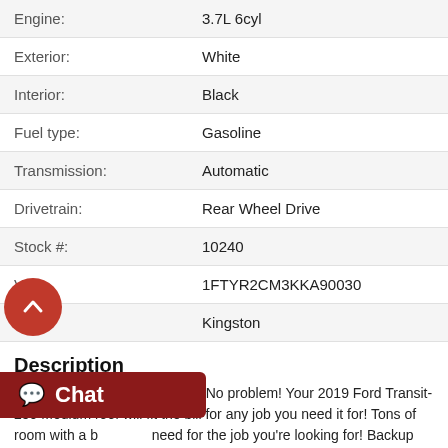| Engine: | 3.7L 6cyl |
| Exterior: | White |
| Interior: | Black |
| Fuel type: | Gasoline |
| Transmission: | Automatic |
| Drivetrain: | Rear Wheel Drive |
| Stock #: | 10240 |
| VIN: | 1FTYR2CM3KKA90030 |
| City: | Kingston |
Description
You found your next work van! No problem! Your 2019 Ford Transit-250 Medium roof will fit the bill for any job you need it for! Tons of room with a b... need for the job you're looking for! Backup cam mounted i... slider door, and a .....Read More